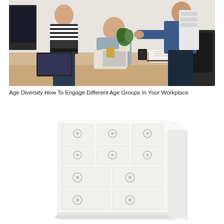[Figure (photo): Three people (two standing, one seated) gathered around a desk in an office setting, looking at a tablet device. Items on the desk include papers, a coffee cup, and a tablet computer.]
Age Diversity How To Engage Different Age Groups In Your Workplace
[Figure (illustration): A white chest of drawers / dresser illustration with multiple drawers featuring round ring handles, shown on a white background with very light gray shading.]